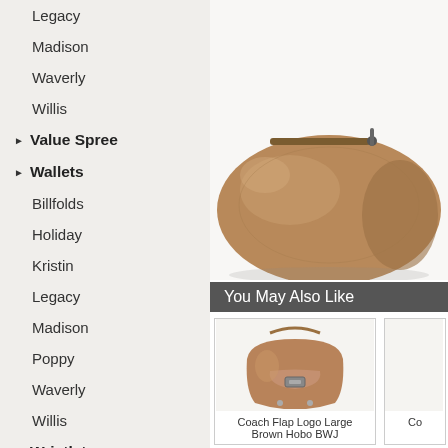Legacy
Madison
Waverly
Willis
▶ Value Spree
▶ Wallets
Billfolds
Holiday
Kristin
Legacy
Madison
Poppy
Waverly
Willis
▶ Wristlets
Legacy
Madison
[Figure (photo): Brown leather Coach bag/purse shown from above, partially cropped at top of page]
You May Also Like
[Figure (photo): Coach Flap Logo Large Brown Hobo BWJ handbag product photo]
Coach Flap Logo Large Brown Hobo BWJ